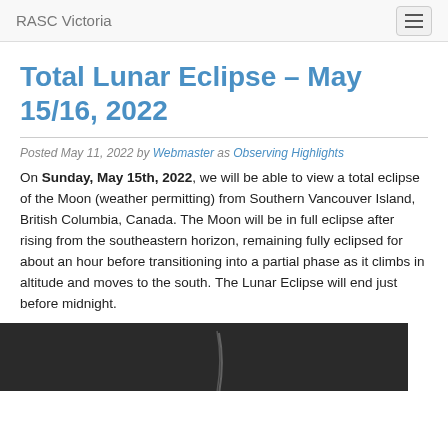RASC Victoria
Total Lunar Eclipse – May 15/16, 2022
Posted May 11, 2022 by Webmaster as Observing Highlights
On Sunday, May 15th, 2022, we will be able to view a total eclipse of the Moon (weather permitting) from Southern Vancouver Island, British Columbia, Canada. The Moon will be in full eclipse after rising from the southeastern horizon, remaining fully eclipsed for about an hour before transitioning into a partial phase as it climbs in altitude and moves to the south. The Lunar Eclipse will end just before midnight.
[Figure (photo): Dark image showing a partial view of a lunar eclipse against a dark background]